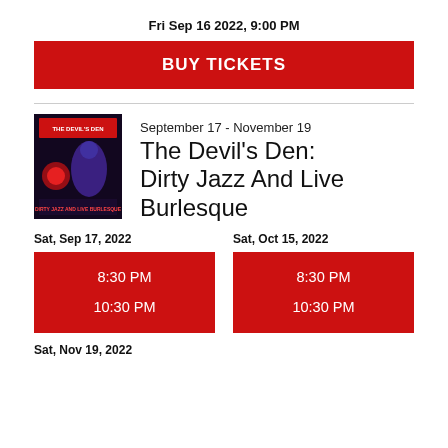Fri Sep 16 2022, 9:00 PM
BUY TICKETS
[Figure (photo): Event poster for The Devil's Den: Dirty Jazz And Live Burlesque, dark background with red and purple text, performer image]
September 17 - November 19
The Devil's Den: Dirty Jazz And Live Burlesque
Sat, Sep 17, 2022
8:30 PM
10:30 PM
Sat, Oct 15, 2022
8:30 PM
10:30 PM
Sat, Nov 19, 2022